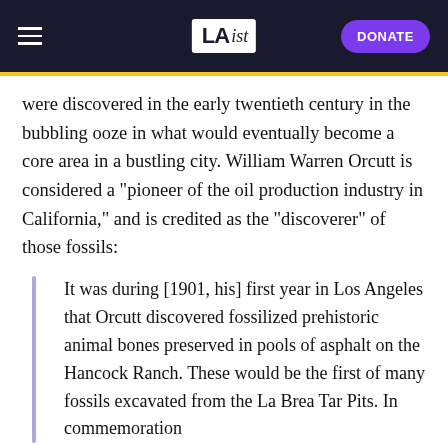LAist — DONATE
were discovered in the early twentieth century in the bubbling ooze in what would eventually become a core area in a bustling city. William Warren Orcutt is considered a "pioneer of the oil production industry in California," and is credited as the "discoverer" of those fossils:
It was during [1901, his] first year in Los Angeles that Orcutt discovered fossilized prehistoric animal bones preserved in pools of asphalt on the Hancock Ranch. These would be the first of many fossils excavated from the La Brea Tar Pits. In commemoration